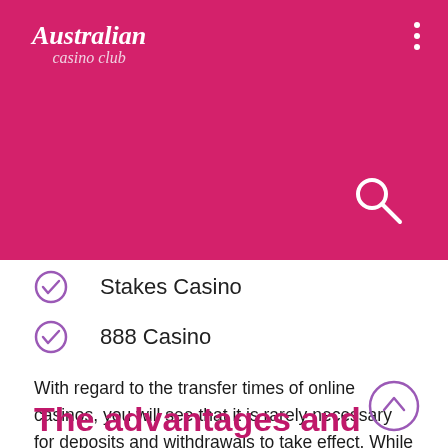Australian casino club
Stakes Casino
888 Casino
With regard to the transfer times of online casinos, you will see that it is rarely necessary for deposits and withdrawals to take effect. While deposits via MasterCard are usually treated in minutes, withdrawals generally take longer. However, the withdrawal speed is also fast enough when you use it as a payment option. It can still take a few days.
The advantages and